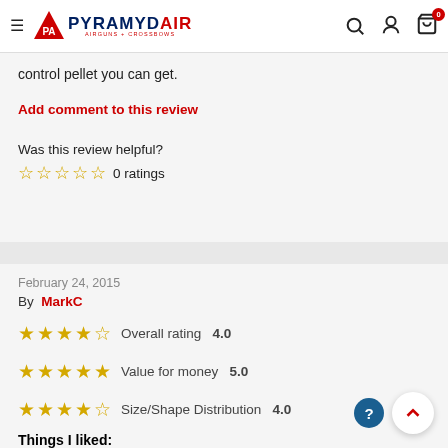Pyramyd Air - Airguns + Crossbows
control pellet you can get.
Add comment to this review
Was this review helpful?
☆☆☆☆☆ 0 ratings
February 24, 2015
By MarkC
★★★★☆ Overall rating 4.0
★★★★★ Value for money 5.0
★★★★☆ Size/Shape Distribution 4.0
Things I liked: